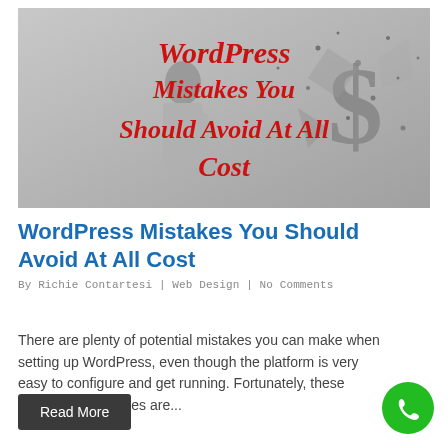[Figure (photo): Blog post hero image: A man in a suit punching a large dollar sign symbol that is shattering, with bold red text overlay reading 'WordPress Mistakes You Should Avoid At All Cost' on a grey background.]
WordPress Mistakes You Should Avoid At All Cost
By Richie Contartesi | Web Design | No Comments
There are plenty of potential mistakes you can make when setting up WordPress, even though the platform is very easy to configure and get running. Fortunately, these WordPress mistakes are...
Read More